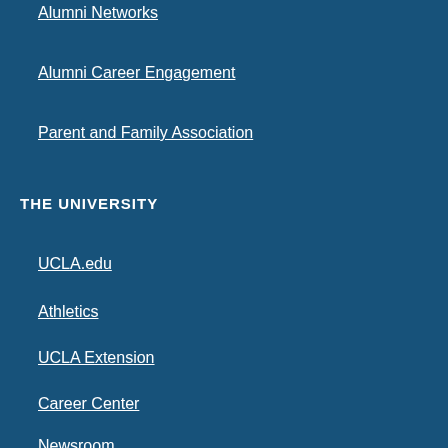Alumni Networks
Alumni Career Engagement
Parent and Family Association
THE UNIVERSITY
UCLA.edu
Athletics
UCLA Extension
Career Center
Newsroom
UCLA Magazine
Research and D...